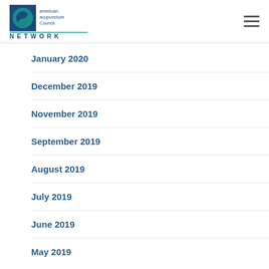American Acupuncture Council Network
January 2020
December 2019
November 2019
September 2019
August 2019
July 2019
June 2019
May 2019